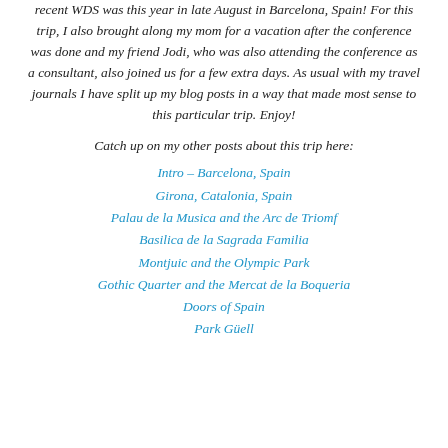recent WDS was this year in late August in Barcelona, Spain! For this trip, I also brought along my mom for a vacation after the conference was done and my friend Jodi, who was also attending the conference as a consultant, also joined us for a few extra days. As usual with my travel journals I have split up my blog posts in a way that made most sense to this particular trip. Enjoy!
Catch up on my other posts about this trip here:
Intro – Barcelona, Spain
Girona, Catalonia, Spain
Palau de la Musica and the Arc de Triomf
Basilica de la Sagrada Familia
Montjuic and the Olympic Park
Gothic Quarter and the Mercat de la Boqueria
Doors of Spain
Park Güell